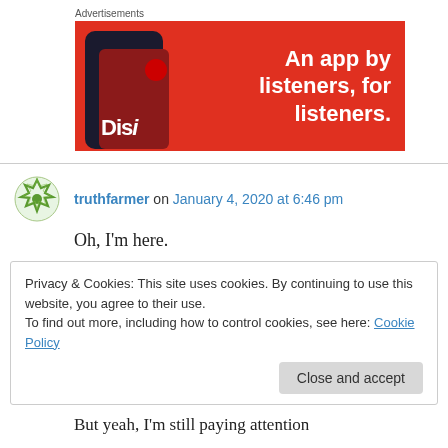Advertisements
[Figure (illustration): Red advertisement banner for a podcast/audio app showing a smartphone with 'Disin' text on screen and bold white text: 'An app by listeners, for listeners.']
truthfarmer on January 4, 2020 at 6:46 pm
Oh, I'm here.
Privacy & Cookies: This site uses cookies. By continuing to use this website, you agree to their use.
To find out more, including how to control cookies, see here: Cookie Policy
But yeah, I'm still paying attention